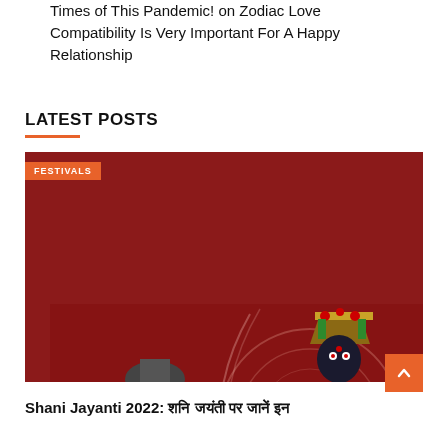Times of This Pandemic! on Zodiac Love Compatibility Is Very Important For A Happy Relationship
LATEST POSTS
[Figure (photo): Image of Shani Maharaj deity statue with colorful decorations on a red background, with a decorated black stone form on the left with garlands, and text 'Shani Maharaj' overlaid]
FESTIVALS
Shani Jayanti 2022: शनि जयंती पर जानें इन